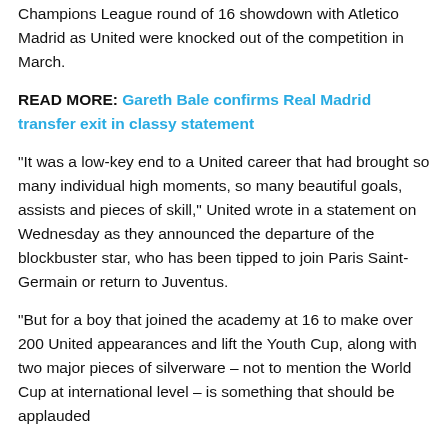Champions League round of 16 showdown with Atletico Madrid as United were knocked out of the competition in March.
READ MORE: Gareth Bale confirms Real Madrid transfer exit in classy statement
“It was a low-key end to a United career that had brought so many individual high moments, so many beautiful goals, assists and pieces of skill,” United wrote in a statement on Wednesday as they announced the departure of the blockbuster star, who has been tipped to join Paris Saint-Germain or return to Juventus.
“But for a boy that joined the academy at 16 to make over 200 United appearances and lift the Youth Cup, along with two major pieces of silverware – not to mention the World Cup at international level – is something that should be applauded